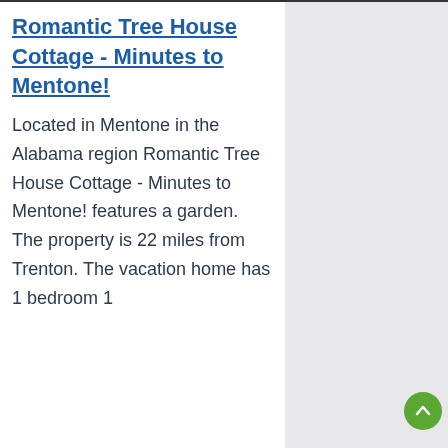Romantic Tree House Cottage - Minutes to Mentone!
Located in Mentone in the Alabama region Romantic Tree House Cottage - Minutes to Mentone! features a garden. The property is 22 miles from Trenton. The vacation home has 1 bedroom 1